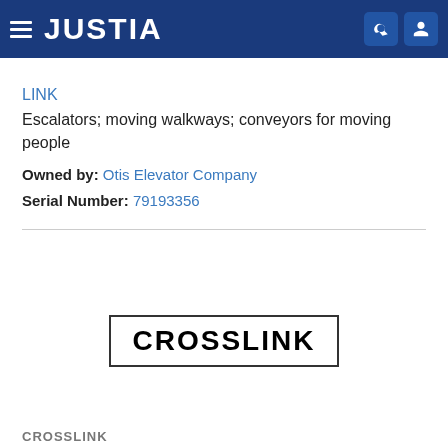JUSTIA
LINK
Escalators; moving walkways; conveyors for moving people
Owned by: Otis Elevator Company
Serial Number: 79193356
[Figure (logo): CROSSLINK trademark logo with border box]
CROSSLINK (partial, bottom of page)